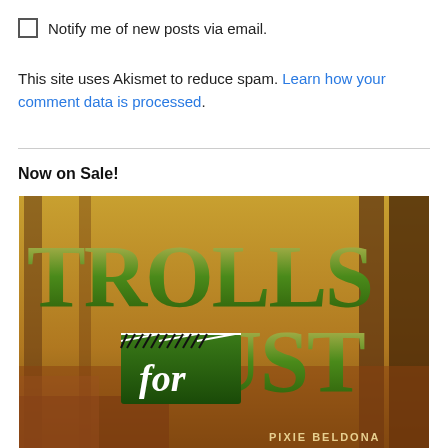Notify me of new posts via email.
This site uses Akismet to reduce spam. Learn how your comment data is processed.
Now on Sale!
[Figure (illustration): Book cover for 'Trolls for Dust' by Pixie Beldona. Large stylized green text on an autumn forest background with a clapperboard graphic and italic 'for' text.]